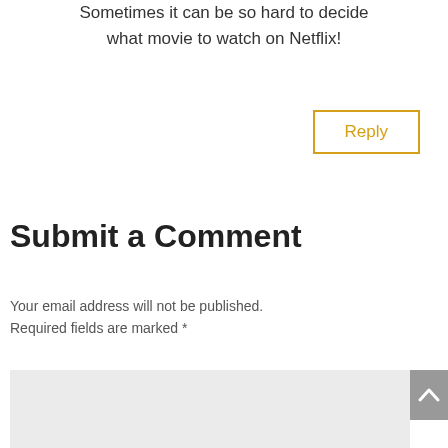Sometimes it can be so hard to decide what movie to watch on Netflix!
Reply
Submit a Comment
Your email address will not be published. Required fields are marked *
Comment *